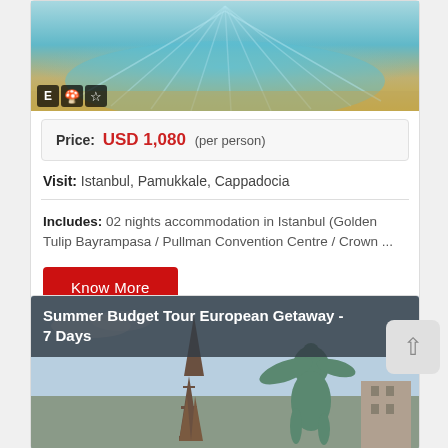[Figure (photo): Aerial view of a circular fountain with teal water and radial lines, with icons E, mushroom/hot-air balloon, and star overlaid at bottom-left]
Price: USD 1,080 (per person)
Visit: Istanbul, Pamukkale, Cappadocia
Includes: 02 nights accommodation in Istanbul (Golden Tulip Bayrampasa / Pullman Convention Centre / Crown ...
Know More
[Figure (photo): Travel card showing Summer Budget Tour European Getaway - 7 Days with Eiffel Tower and a statue silhouette image]